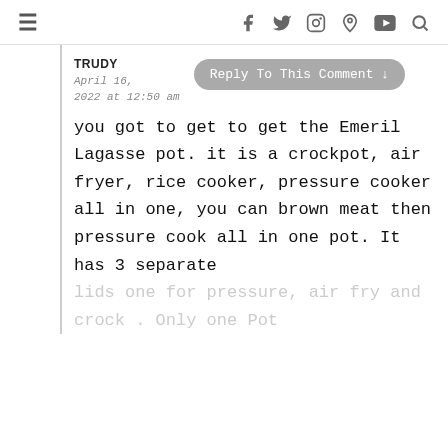≡  f  t  Instagram  Pinterest  YouTube  Search
TRUDY
April 16, 2022 at 12:50 am
Reply To This Comment ↓
you got to get to get the Emeril Lagasse pot. it is a crockpot, air fryer, rice cooker, pressure cooker all in one, you can brown meat then pressure cook all in one pot. It has 3 separate lids one for pressure, air fry and crock . Only one Pot